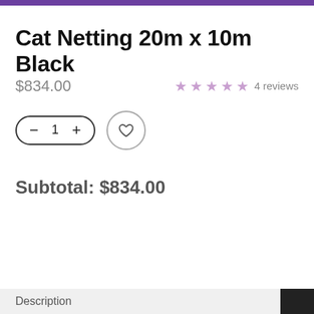Cat Netting 20m x 10m Black
$834.00
★★★★★ 4 reviews
− 1 +
Subtotal:  $834.00
Description